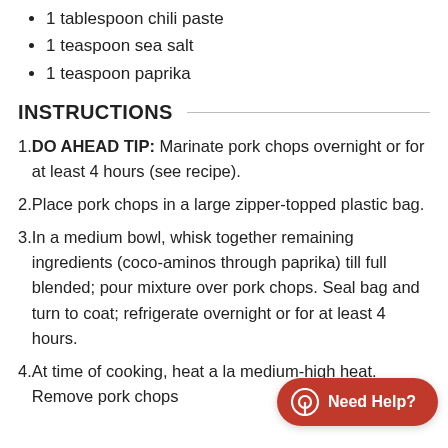1 tablespoon chili paste
1 teaspoon sea salt
1 teaspoon paprika
INSTRUCTIONS
1. DO AHEAD TIP: Marinate pork chops overnight or for at least 4 hours (see recipe).
2. Place pork chops in a large zipper-topped plastic bag.
3. In a medium bowl, whisk together remaining ingredients (coco-aminos through paprika) till full blended; pour mixture over pork chops. Seal bag and turn to coat; refrigerate overnight or for at least 4 hours.
4. At time of cooking, heat a la medium-high heat. Remove pork chops